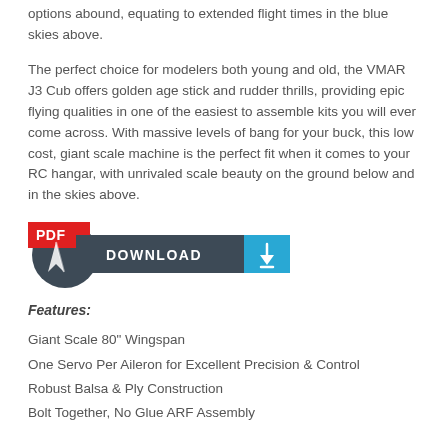options abound, equating to extended flight times in the blue skies above.
The perfect choice for modelers both young and old, the VMAR J3 Cub offers golden age stick and rudder thrills, providing epic flying qualities in one of the easiest to assemble kits you will ever come across. With massive levels of bang for your buck, this low cost, giant scale machine is the perfect fit when it comes to your RC hangar, with unrivaled scale beauty on the ground below and in the skies above.
[Figure (other): PDF Download button with dark circular Adobe logo and red PDF badge, dark bar with DOWNLOAD text and cyan download icon button]
Features:
Giant Scale 80" Wingspan
One Servo Per Aileron for Excellent Precision & Control
Robust Balsa & Ply Construction
Bolt Together, No Glue ARF Assembly